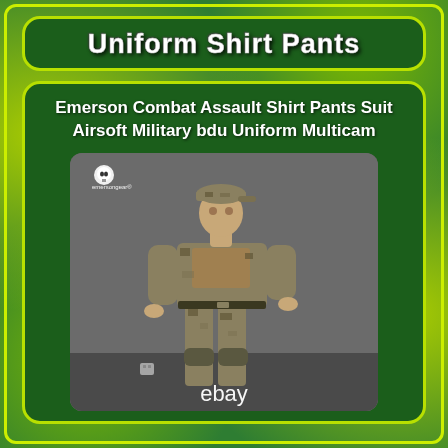Uniform Shirt Pants
Emerson Combat Assault Shirt Pants Suit Airsoft Military bdu Uniform Multicam
[Figure (photo): A person wearing Emerson Combat Assault multicam uniform (shirt and pants) standing against a grey wall. The Emersongear brand logo (skull) is visible in the top left corner. An eBay watermark appears at the bottom.]